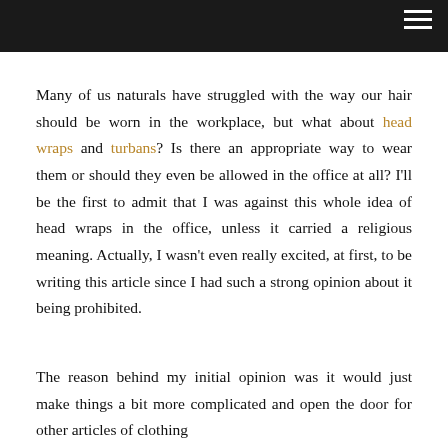Many of us naturals have struggled with the way our hair should be worn in the workplace, but what about head wraps and turbans? Is there an appropriate way to wear them or should they even be allowed in the office at all? I'll be the first to admit that I was against this whole idea of head wraps in the office, unless it carried a religious meaning. Actually, I wasn't even really excited, at first, to be writing this article since I had such a strong opinion about it being prohibited.
The reason behind my initial opinion was it would just make things a bit more complicated and open the door for other articles of clothing